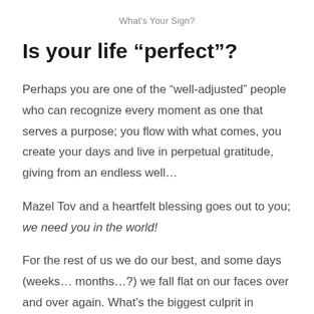What's Your Sign?
Is your life “perfect”?
Perhaps you are one of the “well-adjusted” people who can recognize every moment as one that serves a purpose; you flow with what comes, you create your days and live in perpetual gratitude, giving from an endless well…
Mazel Tov and a heartfelt blessing goes out to you; we need you in the world!
For the rest of us we do our best, and some days (weeks… months…?) we fall flat on our faces over and over again. What’s the biggest culprit in creating